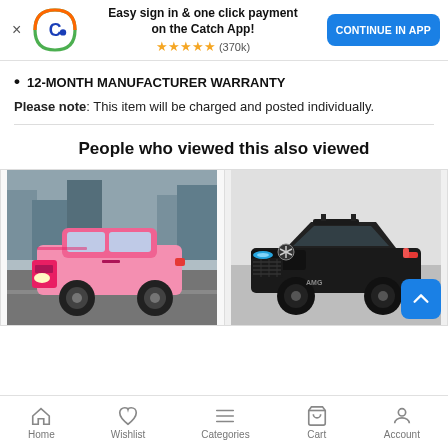[Figure (screenshot): Catch app banner with logo, 'Easy sign in & one click payment on the Catch App!' text, 5-star rating (370k reviews), and CONTINUE IN APP button]
12-MONTH MANUFACTURER WARRANTY
Please note: This item will be charged and posted individually.
People who viewed this also viewed
[Figure (photo): Pink toy electric ride-on SUV (Range Rover style) for kids]
[Figure (photo): Black toy electric ride-on sports car (Mercedes AMG GTR style) for kids]
Home  Wishlist  Categories  Cart  Account